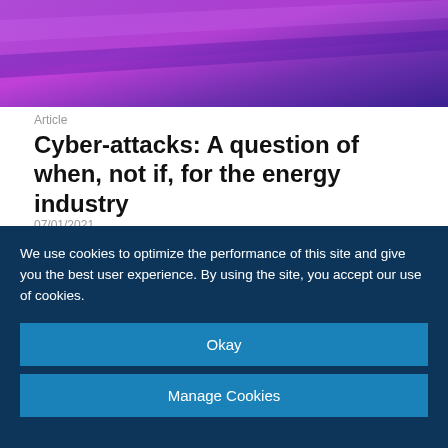[Figure (photo): Abstract purple and blue gradient background image, top banner]
Article
Cyber-attacks: A question of when, not if, for the energy industry
07/01/2021
[Figure (photo): Offshore oil rig or industrial tower structure visible over a shimmering sea/water surface, black and white or muted tones]
We use cookies to optimize the performance of this site and give you the best user experience. By using the site, you accept our use of cookies.
Okay
Manage Cookies